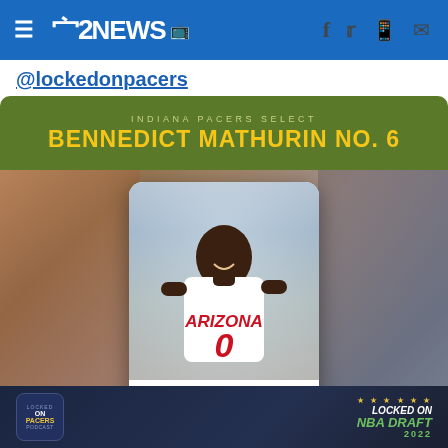12NEWS
@lockedonpacers
[Figure (infographic): Indiana Pacers NBA Draft card graphic showing BENNEDICT MATHURIN NO. 6 selected by Indiana Pacers. Card features player photo in Arizona #0 jersey with text: BENNEDICT MATHURIN, ARIZONA GUARD/FORWARD. Includes Locked On Pacers Podcast and Locked On NBA Draft 2022 logos.]